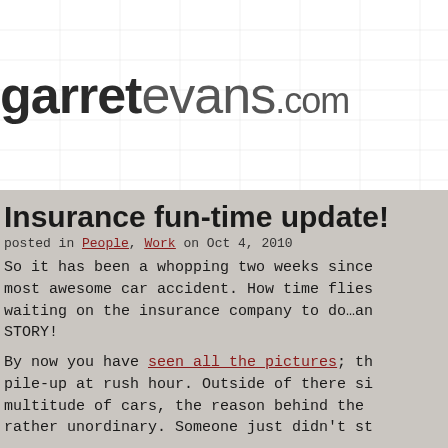garretevans.com
Insurance fun-time update!
posted in People, Work on Oct 4, 2010
So it has been a whopping two weeks since most awesome car accident. How time flies waiting on the insurance company to do…an STORY!
By now you have seen all the pictures; th pile-up at rush hour. Outside of there si multitude of cars, the reason behind the rather unordinary. Someone just didn't st